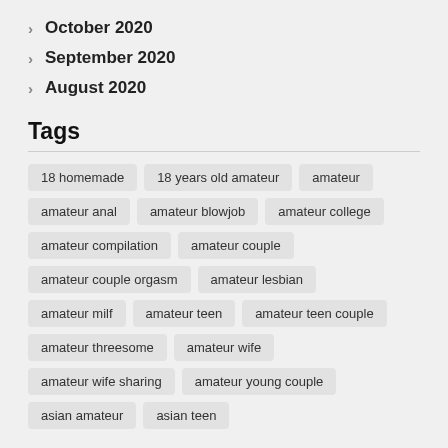October 2020
September 2020
August 2020
Tags
18 homemade
18 years old amateur
amateur
amateur anal
amateur blowjob
amateur college
amateur compilation
amateur couple
amateur couple orgasm
amateur lesbian
amateur milf
amateur teen
amateur teen couple
amateur threesome
amateur wife
amateur wife sharing
amateur young couple
asian amateur
asian teen